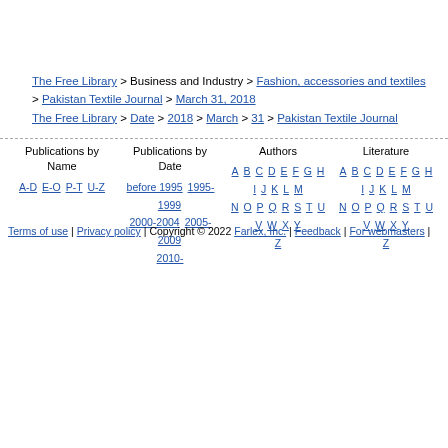The Free Library > Business and Industry > Fashion, accessories and textiles > Pakistan Textile Journal > March 31, 2018
The Free Library > Date > 2018 > March > 31 > Pakistan Textile Journal
Publications by Name | A-D E-O P-T U-Z | Publications by Date | before 1995 1995-1999 2000-2004 2005-2009 2010- | Authors | A B C D E F G H I J K L M N O P Q R S T U V W X Y Z | Literature | A B C D E F G H I J K L M N O P Q R S T U V W X Y Z
Terms of use | Privacy policy | Copyright © 2022 Farlex, Inc. | Feedback | For webmasters |